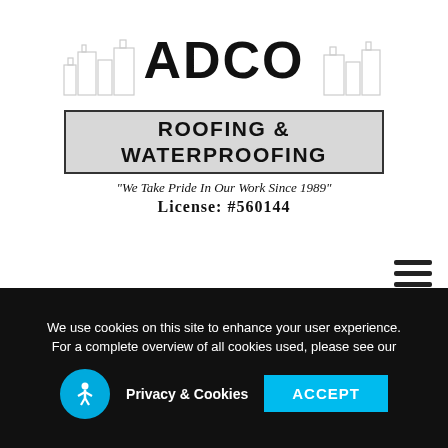[Figure (logo): ADCO Roofing & Waterproofing logo with cityscape silhouette, tagline 'We Take Pride In Our Work Since 1989', and License: #560144]
they can last up to 30 years. Over this time, you will more than recoup any investment made for the installation and the solar panels will be paying for themselves.
We use cookies on this site to enhance your user experience. For a complete overview of all cookies used, please see our Privacy & Cookies  ACCEPT